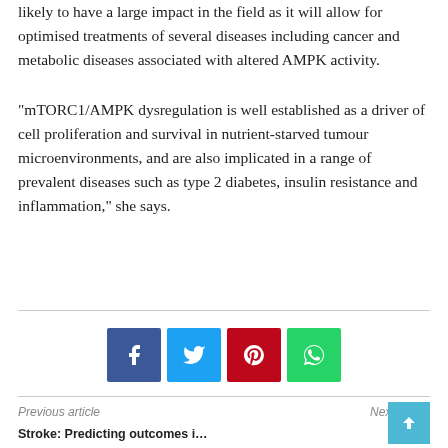likely to have a large impact in the field as it will allow for optimised treatments of several diseases including cancer and metabolic diseases associated with altered AMPK activity.
“mTORC1/AMPK dysregulation is well established as a driver of cell proliferation and survival in nutrient-starved tumour microenvironments, and are also implicated in a range of prevalent diseases such as type 2 diabetes, insulin resistance and inflammation,” she says.
[Figure (infographic): Social media share buttons: Facebook (blue), Twitter (cyan), Pinterest (red), WhatsApp (green)]
Previous article   Next article
Stroke: Predicting outcomes...  Cancer-killing cells: Scientists...